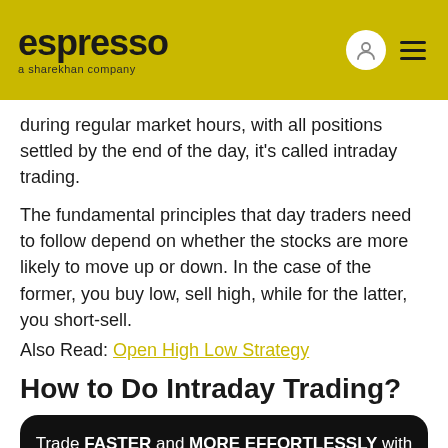espresso — a sharekhan company
during regular market hours, with all positions settled by the end of the day, it's called intraday trading.
The fundamental principles that day traders need to follow depend on whether the stocks are more likely to move up or down. In the case of the former, you buy low, sell high, while for the latter, you short-sell.
Also Read: Open High Low Strategy
How to Do Intraday Trading?
[Figure (infographic): Black rounded promotional banner: 'Trade FASTER and MORE EFFORTLESSLY with SMART BASKET. Execute multiple scrips across segments with just 1 click! KNOW MORE button.']